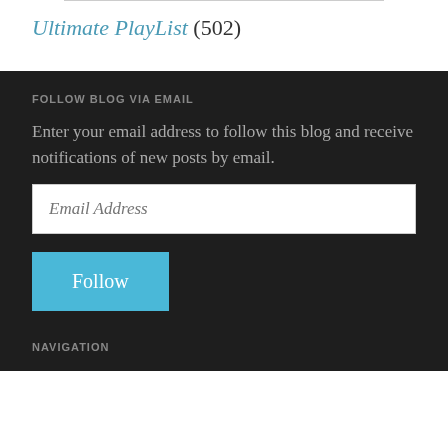Ultimate PlayList (502)
FOLLOW BLOG VIA EMAIL
Enter your email address to follow this blog and receive notifications of new posts by email.
Email Address
Follow
NAVIGATION